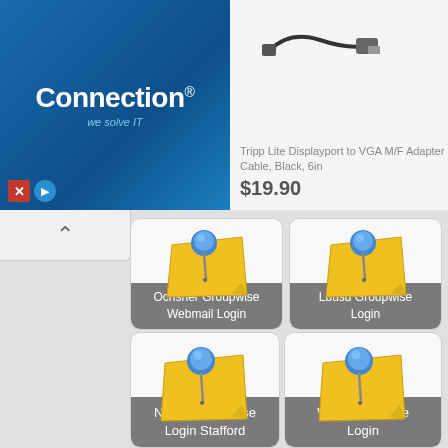[Figure (screenshot): Connection brand logo and advertisement banner for Tripp Lite Displayport to VGA M/F Adapter Cable, Black, 6in priced at $19.90]
[Figure (screenshot): Grid of four sticky note app icons with labels: Ochsner Groupwise Webmail Login, Lbusd Groupwise Login, Novell Groupwise Login Stafford, Wvu Groupwise Login]
Ochsner Groupwise Webmail Login
Lbusd Groupwise Login
Novell Groupwise Login Stafford
Wvu Groupwise Login